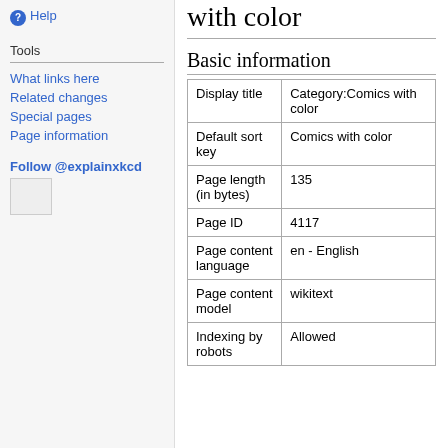Help
Tools
What links here
Related changes
Special pages
Page information
Follow @explainxkcd
[Figure (other): Small image placeholder]
with color
Basic information
|  |  |
| --- | --- |
| Display title | Category:Comics with color |
| Default sort key | Comics with color |
| Page length (in bytes) | 135 |
| Page ID | 4117 |
| Page content language | en - English |
| Page content model | wikitext |
| Indexing by robots | Allowed |